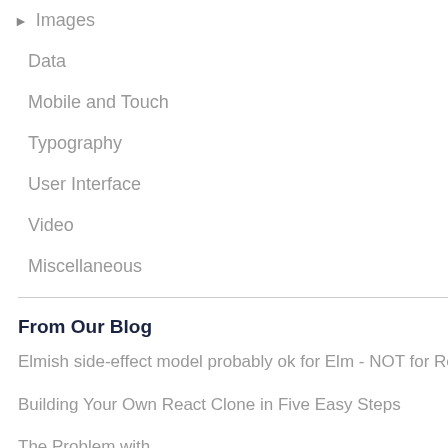▶ Images
Data
Mobile and Touch
Typography
User Interface
Video
Miscellaneous
From Our Blog
Elmish side-effect model probably ok for Elm - NOT for Redux
Building Your Own React Clone in Five Easy Steps
The Problem with
[Figure (screenshot): Repository link box with briefcase icon]
Ty
Typ exp det in a
Us
Imp and foll
im
f r

Ty
th
co